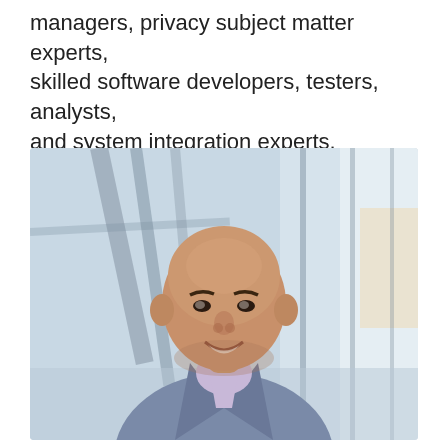managers, privacy subject matter experts, skilled software developers, testers, analysts, and system integration experts.
[Figure (photo): Professional headshot of a bald middle-aged man smiling, wearing a blue-grey blazer over a light purple shirt, photographed in a modern building with large windows and architectural columns in the background.]